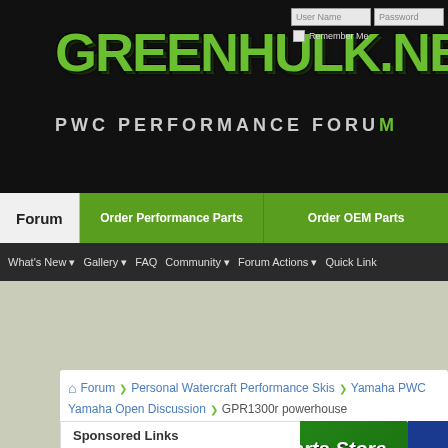[Figure (screenshot): Greenhulk.net PWC Performance Forum website header with logo, login fields, navigation tabs (Forum, Order Performance Parts, Order OEM Parts), and secondary nav bar with What's New, Gallery, FAQ, Community, Forum Actions, Quick Links]
Forum ➤ Personal Watercraft Performance Skis ➤ Yamaha PWC ➤ Yamaha Open Discussion ➤ GPR1300r powerhouse
[Figure (screenshot): Performance Parts Store banner ad - pwcperformance.com]
Sponsored Links